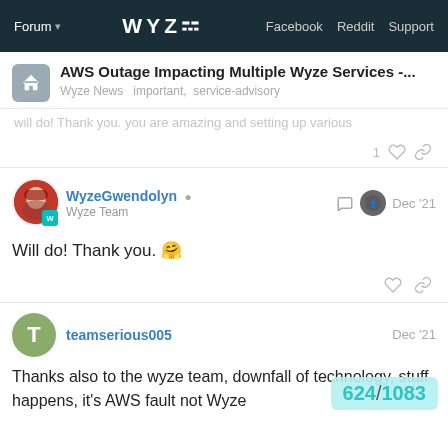Forum | WYZE | Facebook | Reddit | Support
AWS Outage Impacting Multiple Wyze Services -...
Wyze News   important,  service-advisory
WyzeGwendolyn  Wyze Team   Dec '21
Will do! Thank you. 🤗
teamserious005   Dec '21
Thanks also to the wyze team, downfall of technology, stuff happens, it's AWS fault not Wyze
624/1083